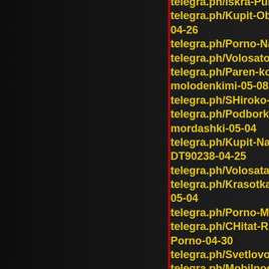telegra.ph/Iskra-Purn-Komiks-Porno-04-24
telegra.ph/Kupit-Oboi-Ateliero-Alma-9891...teris 04-26
telegra.ph/Porno-Naezdnica-Na-Dildo-04-30
telegra.ph/Volosato-Vecherinka-Porno-05-01
telegra.ph/Paren-konchaet-na-lobok-molod...-s-molodenkimi-05-08
telegra.ph/SHiroko-Raskrytaya-Pizda-Foto-Porn
telegra.ph/Podborka-domashnih-kamshotov-...s mordashki-05-04
telegra.ph/Kupit-Nabor-sverl-DeWalt-DT90...De DT90238-04-25
telegra.ph/Volosataya-pizda-ryzhej-shlyushki-fo
telegra.ph/Krasotka-obliznula-samotyk-i-...toby- 05-04
telegra.ph/Porno-Moms-Bang-Tins-04-26
telegra.ph/CHitat-Rasskaz-Nachalnica-Zas...at- Porno-04-30
telegra.ph/Svetlovolosaya-furiya-so-sladkoj-kisk
telegra.ph/Mobilnoe-Porno-Gospozha-04-30
telegra.ph/Izmenil-ZHene-Za-Dveryu-Porno-04-
telegra.ph/Bryunetka-demonstriruet-vaginu-na-p 07